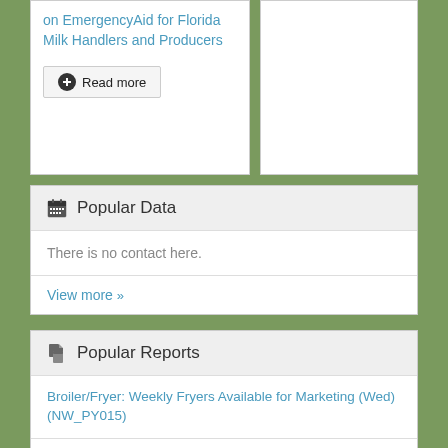on EmergencyAid for Florida Milk Handlers and Producers
Read more
Popular Data
There is no contact here.
View more »
Popular Reports
Broiler/Fryer: Weekly Fryers Available for Marketing (Wed) (NW_PY015)
Butter/Butteroil - Europe